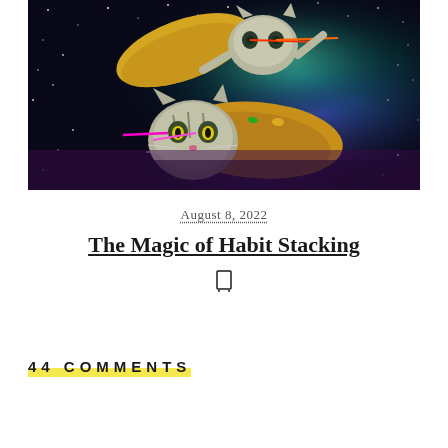[Figure (photo): Surreal photo collage of cats emerging from taco shells floating in outer space with colorful nebula background. Two cats with taco shells as bodies, with laser eyes and space background featuring green, blue, and purple nebula colors.]
August 8, 2022
The Magic of Habit Stacking
44 COMMENTS